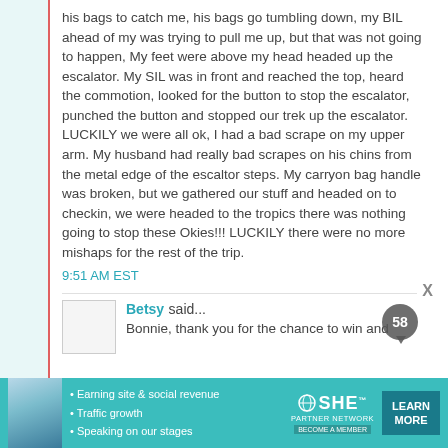his bags to catch me, his bags go tumbling down, my BIL ahead of my was trying to pull me up, but that was not going to happen, My feet were above my head headed up the escalator. My SIL was in front and reached the top, heard the commotion, looked for the button to stop the escalator, punched the button and stopped our trek up the escalator. LUCKILY we were all ok, I had a bad scrape on my upper arm. My husband had really bad scrapes on his chins from the metal edge of the escaltor steps. My carryon bag handle was broken, but we gathered our stuff and headed on to checkin, we were headed to the tropics there was nothing going to stop these Okies!!! LUCKILY there were no more mishaps for the rest of the trip.
9:51 AM EST
Betsy said...
Bonnie, thank you for the chance to win and
[Figure (infographic): Advertisement banner for SHE Partner Network with photo of woman, bullet points: Earning site & social revenue, Traffic growth, Speaking on our stages. Logo: SHE with globe icon. LEARN MORE button. PARTNER NETWORK and BECOME A MEMBER text.]